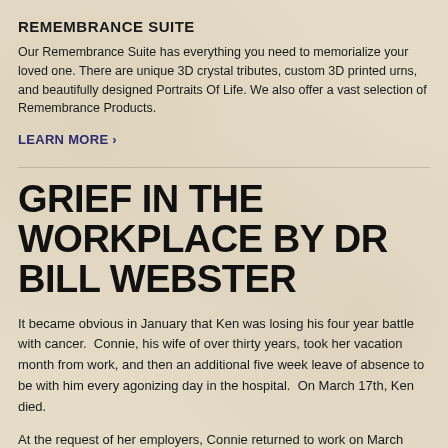REMEMBRANCE SUITE
Our Remembrance Suite has everything you need to memorialize your loved one. There are unique 3D crystal tributes, custom 3D printed urns, and beautifully designed Portraits Of Life. We also offer a vast selection of Remembrance Products.
LEARN MORE >
GRIEF IN THE WORKPLACE BY DR BILL WEBSTER
It became obvious in January that Ken was losing his four year battle with cancer.  Connie, his wife of over thirty years, took her vacation month from work, and then an additional five week leave of absence to be with him every agonizing day in the hospital.  On March 17th, Ken died.
At the request of her employers, Connie returned to work on March